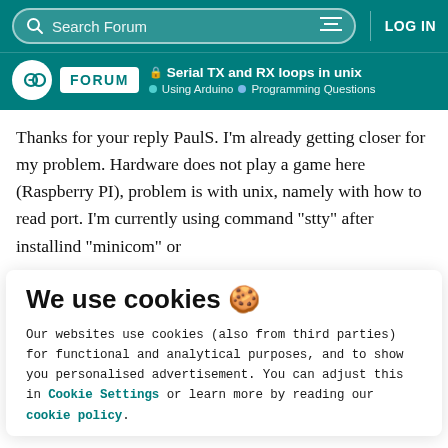Search Forum | LOG IN
Serial TX and RX loops in unix | Using Arduino | Programming Questions
Thanks for your reply PaulS. I'm already getting closer for my problem. Hardware does not play a game here (Raspberry PI), problem is with unix, namely with how to read port. I'm currently using command "stty" after installind "minicom" or
We use cookies 🍪
Our websites use cookies (also from third parties) for functional and analytical purposes, and to show you personalised advertisement. You can adjust this in Cookie Settings or learn more by reading our cookie policy.
ONLY REQUIRED
ACCEPT ALL